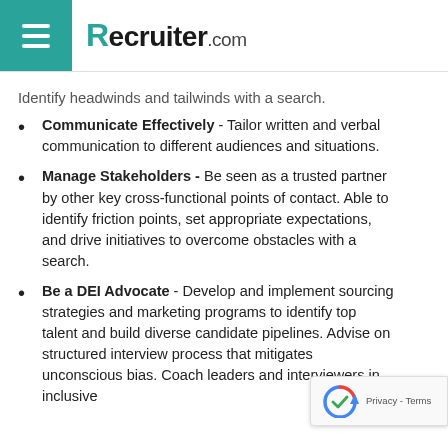Recruiter.com
Identify headwinds and tailwinds with a search.
Communicate Effectively - Tailor written and verbal communication to different audiences and situations.
Manage Stakeholders - Be seen as a trusted partner by other key cross-functional points of contact. Able to identify friction points, set appropriate expectations, and drive initiatives to overcome obstacles with a search.
Be a DEI Advocate - Develop and implement sourcing strategies and marketing programs to identify top talent and build diverse candidate pipelines. Advise on structured interview process that mitigates unconscious bias. Coach leaders and interviewers in inclusive